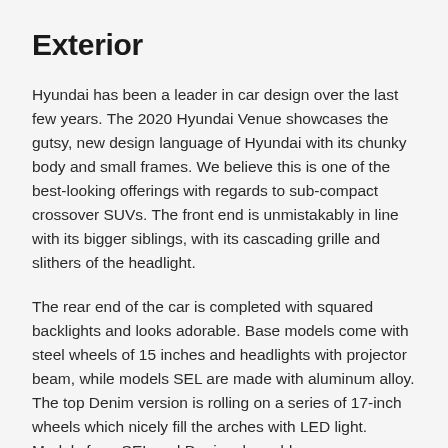Exterior
Hyundai has been a leader in car design over the last few years. The 2020 Hyundai Venue showcases the gutsy, new design language of Hyundai with its chunky body and small frames. We believe this is one of the best-looking offerings with regards to sub-compact crossover SUVs. The front end is unmistakably in line with its bigger siblings, with its cascading grille and slithers of the headlight.
The rear end of the car is completed with squared backlights and looks adorable. Base models come with steel wheels of 15 inches and headlights with projector beam, while models SEL are made with aluminum alloy. The top Denim version is rolling on a series of 17-inch wheels which nicely fill the arches with LED light. Models from SEL and Denim also add